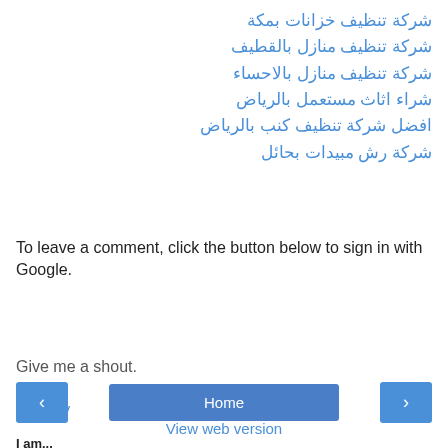شركة تنظيف خزانات بمكة
شركة تنظيف منازل بالقطيف
شركة تنظيف منازل بالاحساء
شراء اثاث مستعمل بالرياض
افضل شركة تنظيف كنب بالرياض
شركة رش مبيدات بحائل
Reply
To leave a comment, click the button below to sign in with Google.
SIGN IN WITH GOOGLE
Give me a shout.
Home
View web version
I am...